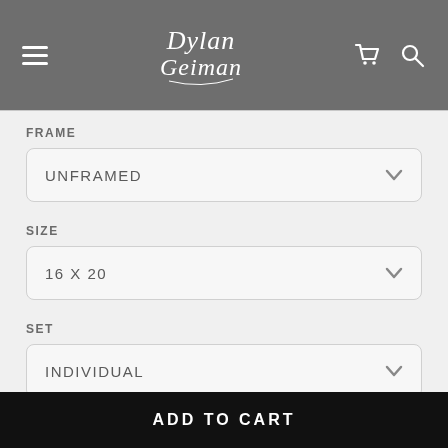Dylan Geiman — navigation header with menu, logo, cart, and search icons
FRAME
UNFRAMED
SIZE
16 X 20
SET
INDIVIDUAL
QUANTITY
ADD TO CART